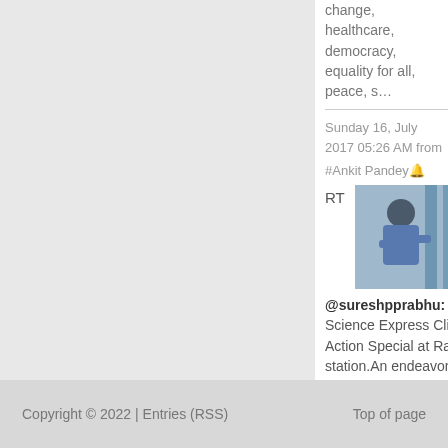change, healthcare, democracy, equality for all, peace, s…
Sunday 16, July 2017 05:26 AM from
#Ankit Pandey🔔
RT
[Figure (photo): A person in a blue shirt leaning over something, thumbnail image]
@sureshpprabhu: Inaugurated Science Express Climate Change Action Special at Ratnagiri station.An endeavor to make students aware about…
Copyright © 2022  |  Entries (RSS)     Top of page